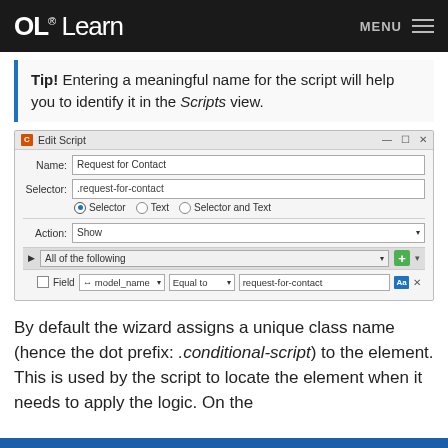OL® Learn  MENU
Tip! Entering a meaningful name for the script will help you to identify it in the Scripts view.
[Figure (screenshot): Edit Script dialog with Name: 'Request for Contact', Selector: '.request-for-contact', radio options Selector / Text / Selector and Text (Selector selected), Action: Show, condition All of the following with Field -> model_name Equal to 'request-for-contact']
By default the wizard assigns a unique class name (hence the dot prefix: .conditional-script) to the element. This is used by the script to locate the element when it needs to apply the logic. On the initial...